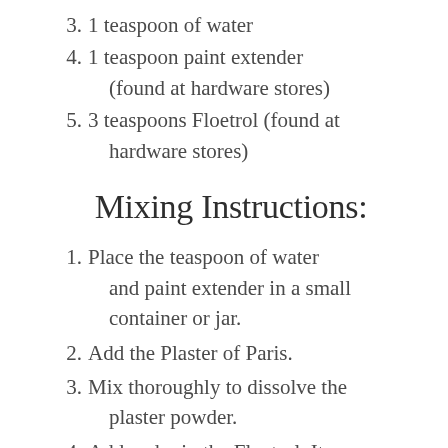3. 1 teaspoon of water
4. 1 teaspoon paint extender (found at hardware stores)
5. 3 teaspoons Floetrol (found at hardware stores)
Mixing Instructions:
1. Place the teaspoon of water and paint extender in a small container or jar.
2. Add the Plaster of Paris.
3. Mix thoroughly to dissolve the plaster powder.
4. Add and mix the Floetrol. It helps to maintain body.
5. In a separate jar pour the latex